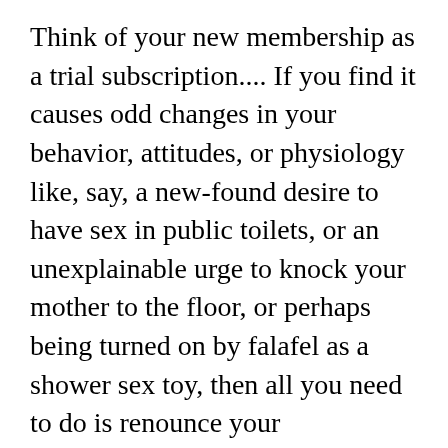Think of your new membership as a trial subscription.... If you find it causes odd changes in your behavior, attitudes, or physiology like, say, a new-found desire to have sex in public toilets, or an unexplainable urge to knock your mother to the floor, or perhaps being turned on by falafel as a shower sex toy, then all you need to do is renounce your membership. Experiment over.
Hell...the trauma and uncontrolled trembling associated with casting your first ballot as a member of the Republican Party may be enough to cause an instant renunciation. If it